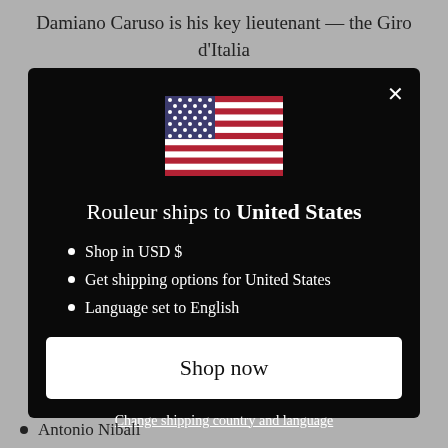Damiano Caruso is his key lieutenant — the Giro d'Italia
[Figure (screenshot): Modal dialog on dark background showing US flag, 'Rouleur ships to United States' heading, bullet list of shipping/currency/language options, 'Shop now' button, and 'Change shipping country and language' link]
Antonio Nibali